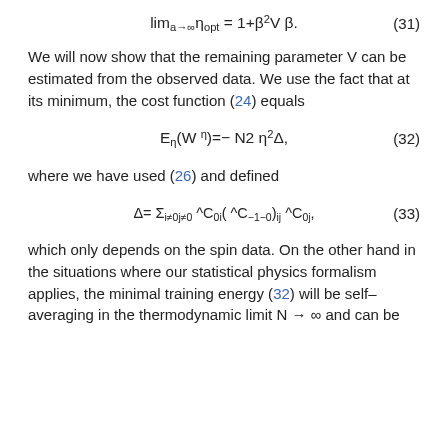We will now show that the remaining parameter V can be estimated from the observed data. We use the fact that at its minimum, the cost function (24) equals
where we have used (26) and defined
which only depends on the spin data. On the other hand in the situations where our statistical physics formalism applies, the minimal training energy (32) will be self-averaging in the thermodynamic limit N → ∞ and can be